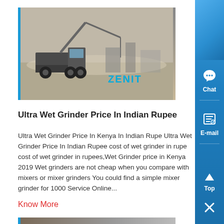[Figure (photo): A construction/mining truck at a dusty site with a crane, labeled ZENIT]
Ultra Wet Grinder Price In Indian Rupee
Ultra Wet Grinder Price In Kenya In Indian Rupe Ultra Wet Grinder Price In Indian Rupee cost of wet grinder in rupe cost of wet grinder in rupees,Wet Grinder price in Kenya 2019 Wet grinders are not cheap when you compare with mixers or mixer grinders You could find a simple mixer grinder for 1000 Service Online...
Know More
[Figure (photo): Partial image at the bottom of the page]